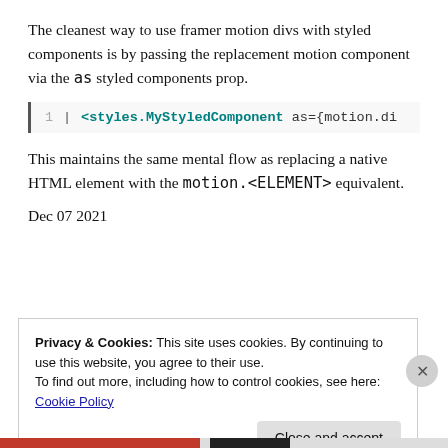The cleanest way to use framer motion divs with styled components is by passing the replacement motion component via the as styled components prop.
[Figure (screenshot): Code block showing line 1: <styles.MyStyledComponent as={motion.di]
This maintains the same mental flow as replacing a native HTML element with the motion.<ELEMENT> equivalent.
Dec 07 2021
Privacy & Cookies: This site uses cookies. By continuing to use this website, you agree to their use.
To find out more, including how to control cookies, see here:
Cookie Policy
Close and accept